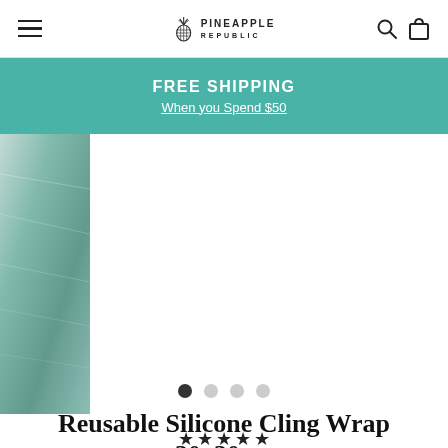Pineapple Republic — navigation header with hamburger menu, logo, search and cart icons
FREE SHIPPING
When you Spend $50
[Figure (photo): Partial product image showing reusable silicone cling wrap with teal/green tones, visible on the left side of the product image carousel]
Reusable Silicone Cling Wrap 30x30cm